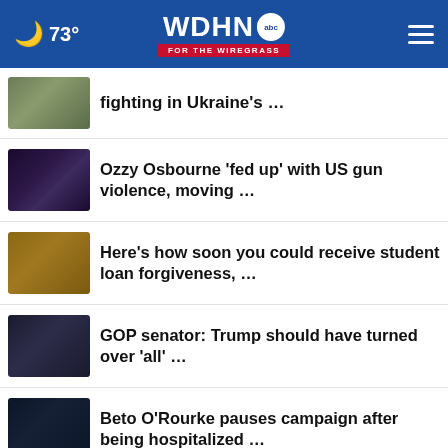73° WDHN FOR THE WIREGRASS
fighting in Ukraine's …
Ozzy Osbourne 'fed up' with US gun violence, moving …
Here's how soon you could receive student loan forgiveness, …
GOP senator: Trump should have turned over 'all' …
Beto O'Rourke pauses campaign after being hospitalized …
Watergate prosecutor: DOJ w… be …
[Figure (advertisement): Mr. Mattress Superstore ad: BEST SELECTION. BEST PRICES. GUARANTEED.]